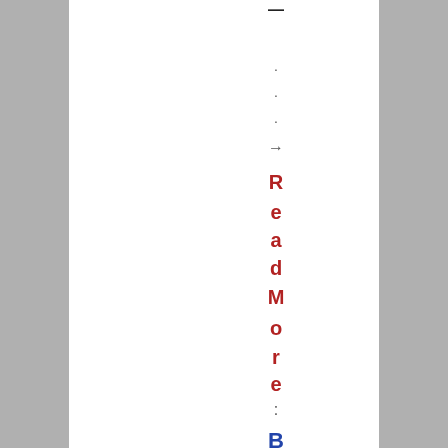→ Read More: Bodhisattva
. . . → ReadMore: Bodhisattva